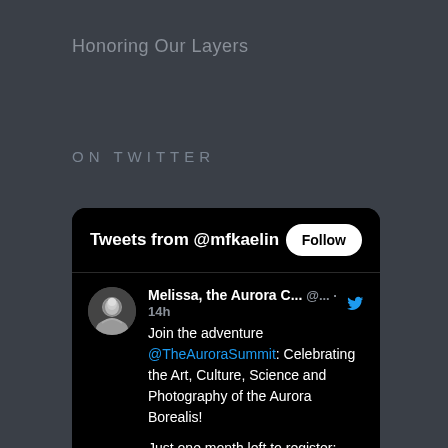Honoring Our Layers
ON TWITTER
[Figure (screenshot): Embedded Twitter widget showing tweets from @mfkaelin. Header reads 'Tweets from @mfkaelin' with a Follow button. Tweet by 'Melissa, the Aurora C...' posted 14h ago: 'Join the adventure @TheAuroraSummit: Celebrating the Art, Culture, Science and Photography of the Aurora Borealis! Just one month left to register: TheAuroraSummit.com #AuroraSummit22']